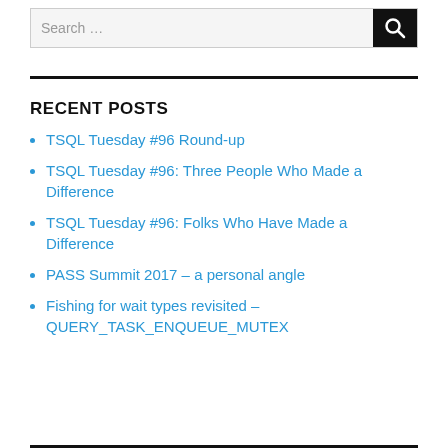[Figure (other): Search bar with text input and black search button with magnifying glass icon]
RECENT POSTS
TSQL Tuesday #96 Round-up
TSQL Tuesday #96: Three People Who Made a Difference
TSQL Tuesday #96: Folks Who Have Made a Difference
PASS Summit 2017 – a personal angle
Fishing for wait types revisited – QUERY_TASK_ENQUEUE_MUTEX